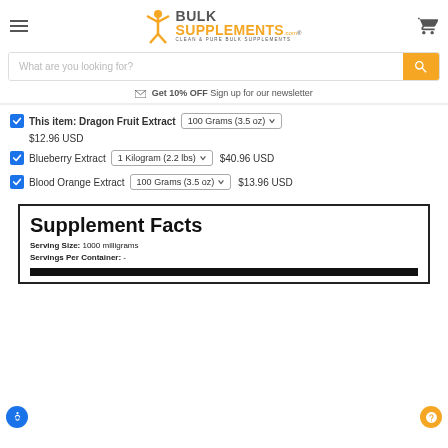[Figure (logo): BulkSupplements.com logo with orange figure, BULK in grey, SUPPLEMENTS in orange, tagline CLEAN & PURE BULK SUPPLEMENTS]
What are you looking for?
Get 10% OFF Sign up for our newsletter
This item: Dragon Fruit Extract — 100 Grams (3.5 oz) — $12.96 USD
Blueberry Extract — 1 Kilogram (2.2 lbs) — $40.96 USD
Blood Orange Extract — 100 Grams (3.5 oz) — $13.96 USD
Supplement Facts
Serving Size: 1000 milligrams
Servings Per Container: -